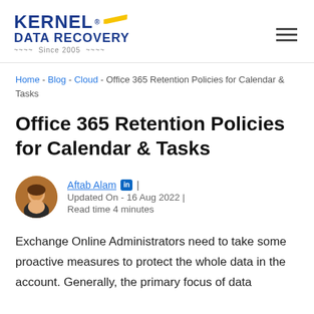Kernel Data Recovery — Since 2005
Home - Blog - Cloud - Office 365 Retention Policies for Calendar & Tasks
Office 365 Retention Policies for Calendar & Tasks
Aftab Alam | Updated On - 16 Aug 2022 | Read time 4 minutes
Exchange Online Administrators need to take some proactive measures to protect the whole data in the account. Generally, the primary focus of data